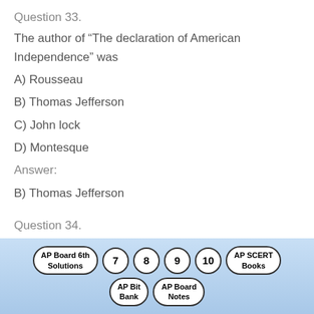Question 33.
The author of “The declaration of American Independence” was
A) Rousseau
B) Thomas Jefferson
C) John lock
D) Montesque
Answer:
B) Thomas Jefferson
Question 34.
Where the head of the state is a democratic elected president not a monarch is called
A) Parliamentary system
AP Board 6th Solutions | 7 | 8 | 9 | 10 | AP SCERT Books | AP Bit Bank | AP Board Notes